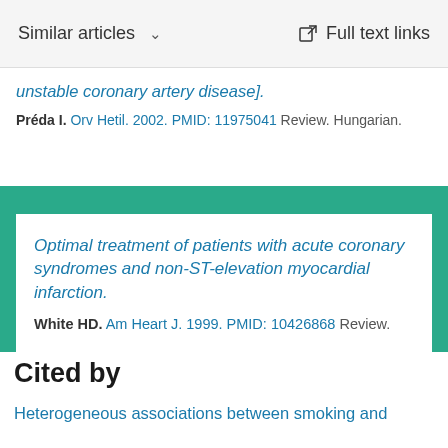Similar articles  Full text links
unstable coronary artery disease].
Préda I. Orv Hetil. 2002. PMID: 11975041 Review. Hungarian.
Optimal treatment of patients with acute coronary syndromes and non-ST-elevation myocardial infarction.
White HD. Am Heart J. 1999. PMID: 10426868 Review.
See all similar articles
Cited by
Heterogeneous associations between smoking and